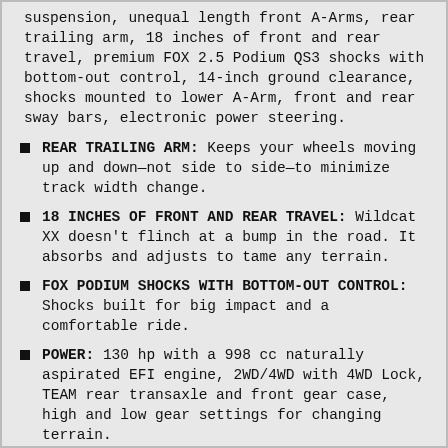suspension, unequal length front A-Arms, rear trailing arm, 18 inches of front and rear travel, premium FOX 2.5 Podium QS3 shocks with bottom-out control, 14-inch ground clearance, shocks mounted to lower A-Arm, front and rear sway bars, electronic power steering.
REAR TRAILING ARM: Keeps your wheels moving up and down—not side to side—to minimize track width change.
18 INCHES OF FRONT AND REAR TRAVEL: Wildcat XX doesn't flinch at a bump in the road. It absorbs and adjusts to tame any terrain.
FOX PODIUM SHOCKS WITH BOTTOM-OUT CONTROL: Shocks built for big impact and a comfortable ride.
POWER: 130 hp with a 998 cc naturally aspirated EFI engine, 2WD/4WD with 4WD Lock, TEAM rear transaxle and front gear case, high and low gear settings for changing terrain.
130 HP WITH A 998 CC EFI ENGINE: A best-in-class naturally aspirated engine can take any challenge head on.